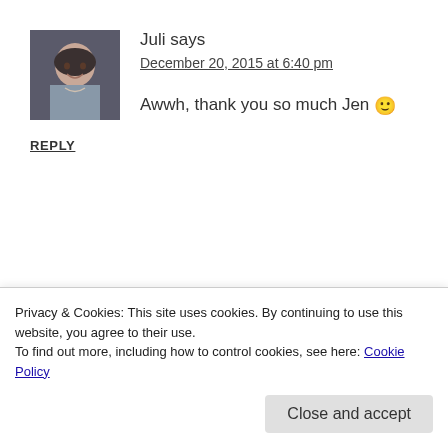[Figure (photo): Avatar photo of Juli — a woman smiling, dark hair, partial view of face and shoulders]
Juli says
December 20, 2015 at 6:40 pm
Awwh, thank you so much Jen 🙂
REPLY
[Figure (photo): Partial avatar photo visible at bottom, brownish tones]
Privacy & Cookies: This site uses cookies. By continuing to use this website, you agree to their use.
To find out more, including how to control cookies, see here: Cookie Policy
Close and accept